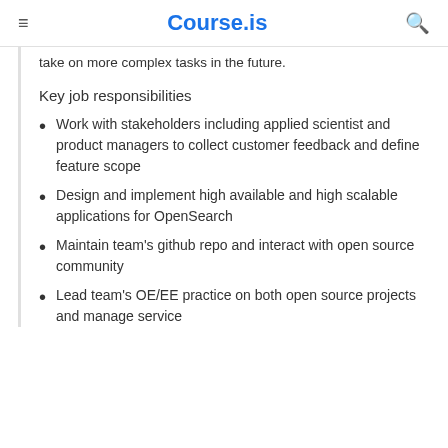Course.is
take on more complex tasks in the future.
Key job responsibilities
Work with stakeholders including applied scientist and product managers to collect customer feedback and define feature scope
Design and implement high available and high scalable applications for OpenSearch
Maintain team's github repo and interact with open source community
Lead team's OE/EE practice on both open source projects and manage service